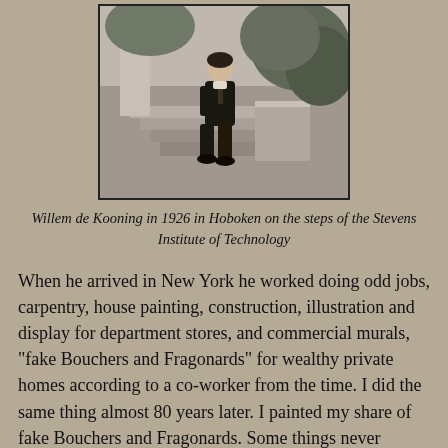[Figure (photo): Black and white photograph of Willem de Kooning in 1926 sitting on the steps of the Stevens Institute of Technology in Hoboken]
Willem de Kooning in 1926 in Hoboken on the steps of the Stevens Institute of Technology
When he arrived in New York he worked doing odd jobs, carpentry, house painting, construction, illustration and display for department stores, and commercial murals, "fake Bouchers and Fragonards" for wealthy private homes according to a co-worker from the time. I did the same thing almost 80 years later. I painted my share of fake Bouchers and Fragonards. Some things never change. Legend says that de Kooning painted murals for speakeasies during Prohibition.
De Kooning was ambitious as a fine artist, and specifically as